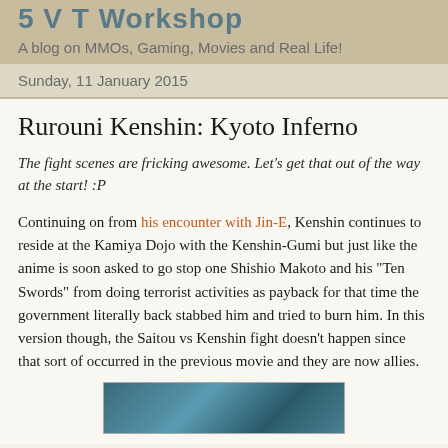5 V T Workshop
A blog on MMOs, Gaming, Movies and Real Life!
Sunday, 11 January 2015
Rurouni Kenshin: Kyoto Inferno
The fight scenes are fricking awesome. Let's get that out of the way at the start! :P
Continuing on from his encounter with Jin-E, Kenshin continues to reside at the Kamiya Dojo with the Kenshin-Gumi but just like the anime is soon asked to go stop one Shishio Makoto and his "Ten Swords" from doing terrorist activities as payback for that time the government literally back stabbed him and tried to burn him. In this version though, the Saitou vs Kenshin fight doesn't happen since that sort of occurred in the previous movie and they are now allies.
[Figure (photo): A blue-toned image, partially visible at the bottom of the page, appearing to be a scene from the movie Rurouni Kenshin: Kyoto Inferno]